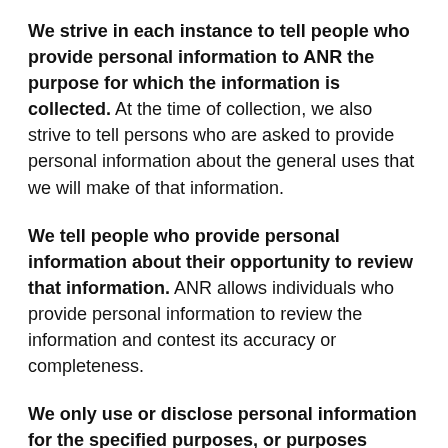We strive in each instance to tell people who provide personal information to ANR the purpose for which the information is collected. At the time of collection, we also strive to tell persons who are asked to provide personal information about the general uses that we will make of that information.
We tell people who provide personal information about their opportunity to review that information. ANR allows individuals who provide personal information to review the information and contest its accuracy or completeness.
We only use or disclose personal information for the specified purposes, or purposes consistent with those purposes, unless we get the consent of the subject of the